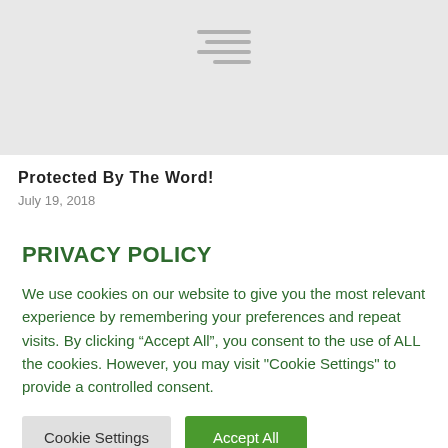[Figure (illustration): Gray placeholder image with horizontal menu/list lines in the center]
Protected By The Word!
July 19, 2018
PRIVACY POLICY
We use cookies on our website to give you the most relevant experience by remembering your preferences and repeat visits. By clicking “Accept All”, you consent to the use of ALL the cookies. However, you may visit "Cookie Settings" to provide a controlled consent.
Cookie Settings | Accept All